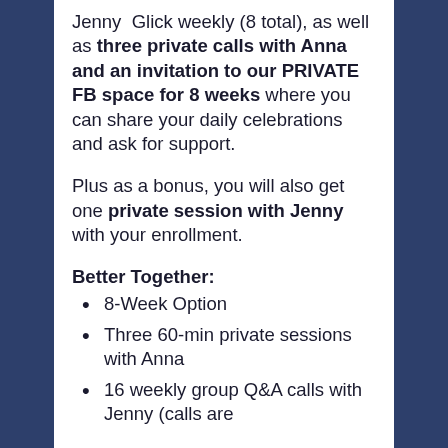Jenny Glick weekly (8 total), as well as three private calls with Anna and an invitation to our PRIVATE FB space for 8 weeks where you can share your daily celebrations and ask for support.
Plus as a bonus, you will also get one private session with Jenny with your enrollment.
Better Together:
8-Week Option
Three 60-min private sessions with Anna
16 weekly group Q&A calls with Jenny (calls are